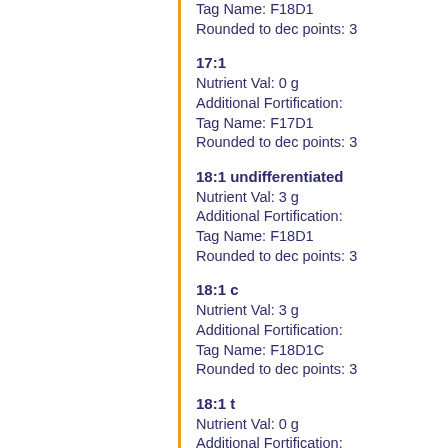Tag Name: F16D1
Rounded to dec points: 3
17:1
Nutrient Val: 0 g
Additional Fortification:
Tag Name: F17D1
Rounded to dec points: 3
18:1 undifferentiated
Nutrient Val: 3 g
Additional Fortification:
Tag Name: F18D1
Rounded to dec points: 3
18:1 c
Nutrient Val: 3 g
Additional Fortification:
Tag Name: F18D1C
Rounded to dec points: 3
18:1 t
Nutrient Val: 0 g
Additional Fortification:
Tag Name: F18D1T
Rounded to dec points: 3